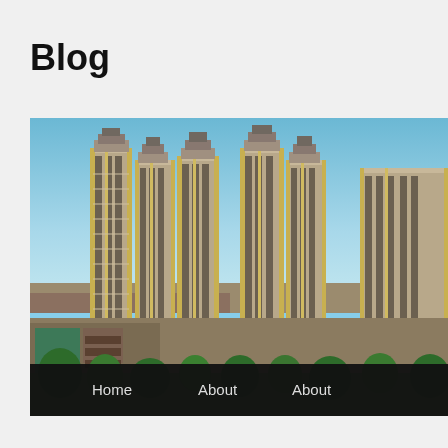Blog
[Figure (photo): A cluster of tall modern high-rise residential apartment towers with beige/tan facades and repeated window patterns, photographed against a blue sky. Green trees and a lower commercial building with green glass accents are visible at the base. Open land is visible in the background.]
Home   About   About